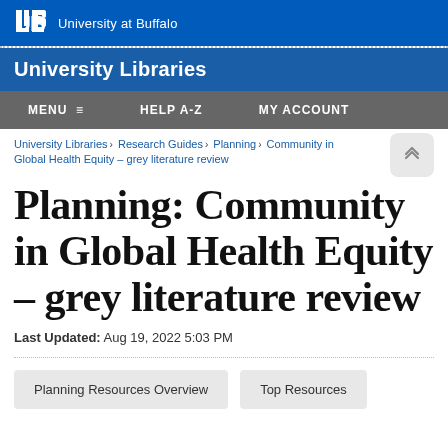University at Buffalo
University Libraries
MENU  HELP A-Z  MY ACCOUNT
University Libraries › Research Guides › Planning › Community in Global Health Equity – grey literature review
Planning: Community in Global Health Equity – grey literature review
Last Updated: Aug 19, 2022 5:03 PM
Planning Resources Overview
Top Resources